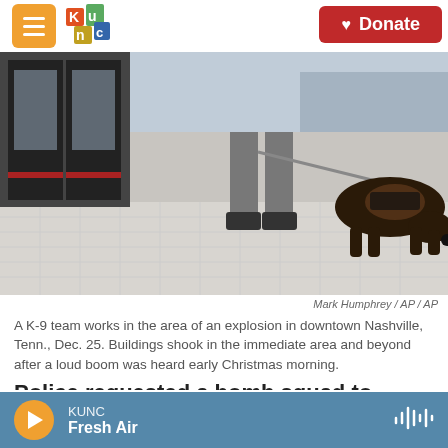KUNC | Donate
[Figure (photo): A K-9 handler walks a German Shepherd dog through what appears to be a building entrance or hallway, with the dog sniffing the floor. The image is taken from behind, showing the legs of the handler in gray uniform and the dog on a leash.]
Mark Humphrey / AP / AP
A K-9 team works in the area of an explosion in downtown Nashville, Tenn., Dec. 25. Buildings shook in the immediate area and beyond after a loud boom was heard early Christmas morning.
Police requested a bomb squad to respond, and had begun evacuating the area when the RV exploded at 6:30 a.m. local time. The blast was felt for miles.
KUNC Fresh Air